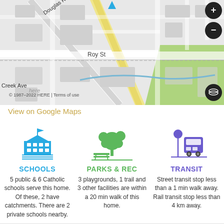[Figure (map): Street map showing Roy St, Douglas Rd, Creek Ave, Still Creek area. Blue location pin marker at top center. HERE maps attribution. Scale bar showing 200m. Map controls (+/-) at top right. Green park area at right. © 1987-2022 HERE | Terms of use]
View on Google Maps
[Figure (illustration): Blue school building icon with flag on top]
SCHOOLS
5 public & 6 Catholic schools serve this home. Of these, 2 have catchments. There are 2 private schools nearby.
[Figure (illustration): Green park icon with tree and bench]
PARKS & REC
3 playgrounds, 1 trail and 3 other facilities are within a 20 min walk of this home.
[Figure (illustration): Purple transit bus with stop sign icon]
TRANSIT
Street transit stop less than a 1 min walk away. Rail transit stop less than 4 km away.